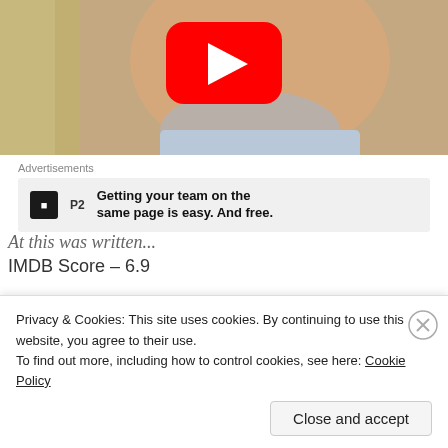[Figure (screenshot): YouTube video thumbnail showing a man's face (older man with gray beard) and a YouTube play button overlay in the upper portion of the page.]
Advertisements
[Figure (screenshot): Advertisement box with P2 logo and text: Getting your team on the same page is easy. And free.]
At this was written...
IMDB Score – 6.9
Privacy & Cookies: This site uses cookies. By continuing to use this website, you agree to their use.
To find out more, including how to control cookies, see here: Cookie Policy
Close and accept